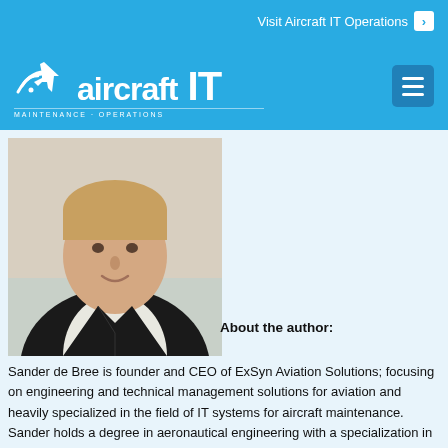Visit Aircraft IT Operations >
[Figure (logo): Aircraft IT Maintenance - Operations logo in white on blue background with WiFi and airplane icons]
[Figure (photo): Portrait photo of Sander de Bree, a young man in a dark blazer and white shirt, smiling]
About the author:
Sander de Bree is founder and CEO of ExSyn Aviation Solutions; focusing on engineering and technical management solutions for aviation and heavily specialized in the field of IT systems for aircraft maintenance. Sander holds a degree in aeronautical engineering with a specialization in quality management and aviation regulations. He is a member of the Royal Dutch society of engineers (KIVI NIRIA) and associate